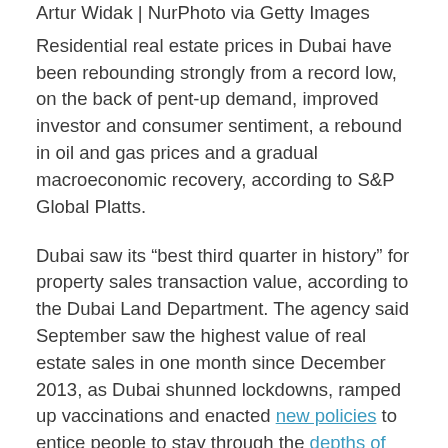Artur Widak | NurPhoto via Getty Images
Residential real estate prices in Dubai have been rebounding strongly from a record low, on the back of pent-up demand, improved investor and consumer sentiment, a rebound in oil and gas prices and a gradual macroeconomic recovery, according to S&P Global Platts.
Dubai saw its “best third quarter in history” for property sales transaction value, according to the Dubai Land Department. The agency said September saw the highest value of real estate sales in one month since December 2013, as Dubai shunned lockdowns, ramped up vaccinations and enacted new policies to entice people to stay through the depths of the pandemic.
While many countries re-imposed lockdowns and travel bans over the last year, Dubai stood out even among its